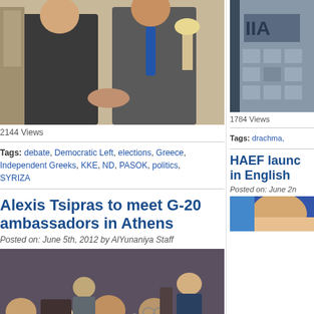[Figure (photo): Two men in suits shaking hands indoors]
2144 Views
Tags: debate, Democratic Left, elections, Greece, Independent Greeks, KKE, ND, PASOK, politics, SYRIZA
Alexis Tsipras to meet G-20 ambassadors in Athens
Posted on: June 5th, 2012 by AlYunaniya Staff
[Figure (photo): Group of people seated at a meeting, including Alexis Tsipras]
[Figure (photo): Right column: building exterior with sign]
1784 Views
Tags: drachma,
HAEF launc in English
Posted on: June 2n
[Figure (photo): Right column: partial image, blue color]